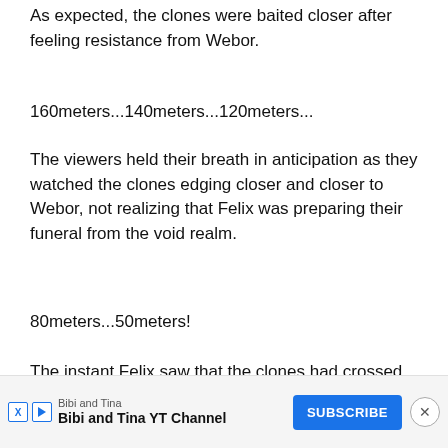As expected, the clones were baited closer after feeling resistance from Webor.
160meters...140meters...120meters...
The viewers held their breath in anticipation as they watched the clones edging closer and closer to Webor, not realizing that Felix was preparing their funeral from the void realm.
80meters...50meters!
The instant Felix saw that the clones had crossed the fifty meters line, he didn't hesitate to snap his finger.
Then...There was no then. The void domain appeared in the blink of an eye above the platform just like a magic trick.
Webor
[Figure (other): Advertisement banner for 'Bibi and Tina YT Channel' with a Subscribe button and close (X) button]